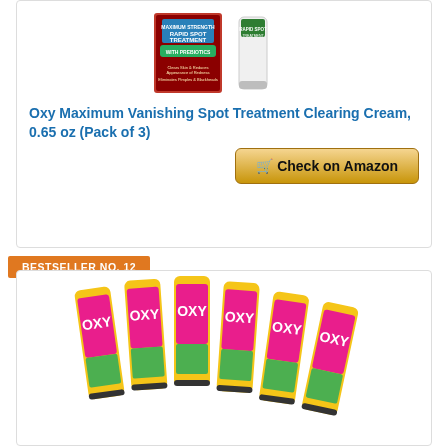[Figure (photo): Oxy Maximum Strength Rapid Spot Treatment product box and tube]
Oxy Maximum Vanishing Spot Treatment Clearing Cream, 0.65 oz (Pack of 3)
Check on Amazon
BESTSELLER NO. 12
[Figure (photo): Six OXY acne tubes arranged in a row]